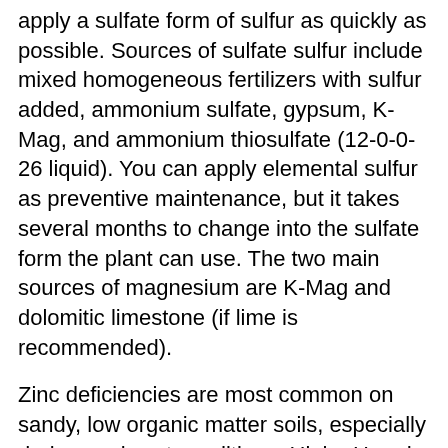apply a sulfate form of sulfur as quickly as possible. Sources of sulfate sulfur include mixed homogeneous fertilizers with sulfur added, ammonium sulfate, gypsum, K-Mag, and ammonium thiosulfate (12-0-0-26 liquid). You can apply elemental sulfur as preventive maintenance, but it takes several months to change into the sulfate form the plant can use. The two main sources of magnesium are K-Mag and dolomitic limestone (if lime is recommended).
Zinc deficiencies are most common on sandy, low organic matter soils, especially during cool, wet conditions. High pH and phosphorus levels increase the chances of deficiency. Zinc deficiency symptoms are usually evident several weeks after emergence as light interveinal striping or a whitish band beginning at the leaf base of young leaves. Follow soil test and plant analyses to avoid zinc deficiencies.